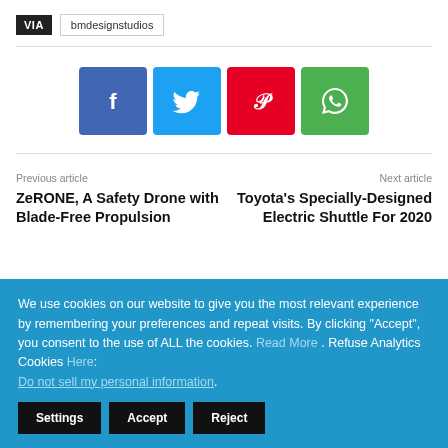VIA  bmdesignstudios
[Figure (other): Social share buttons: Facebook (blue-purple), Twitter (light blue), Pinterest (red), WhatsApp (green)]
Previous article
ZeRONE, A Safety Drone with Blade-Free Propulsion
Next article
Toyota's Specially-Designed Electric Shuttle For 2020
We use cookies on our website to give you the most relevant experience by remembering your preferences and repeat visits. By clicking “Accept”, you consent to the use of ALL the cookies. Read More . Refuse Analytics Cookies Here: Do not sell my personal information.
Settings  Accept  Reject